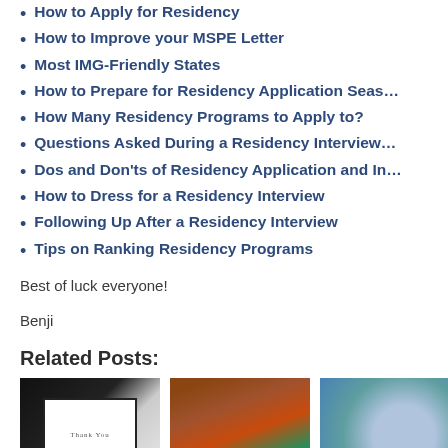How to Apply for Residency
How to Improve your MSPE Letter
Most IMG-Friendly States
How to Prepare for Residency Application Season
How Many Residency Programs to Apply to?
Questions Asked During a Residency Interview
Dos and Don'ts of Residency Application and Interview
How to Dress for a Residency Interview
Following Up After a Residency Interview
Tips on Ranking Residency Programs
Best of luck everyone!
Benji
Related Posts:
[Figure (photo): Thank you card with handwriting on dark background]
[Figure (photo): Colorful rolled papers or markers]
[Figure (photo): Light blue circular icon or graphic]